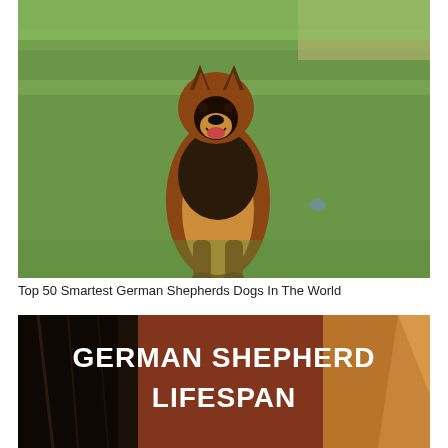[Figure (photo): A German Shepherd dog sitting on grass outdoors, facing the camera with mouth open, with a blue ball to its right side. Background shows green grass and a paved path.]
Top 50 Smartest German Shepherds Dogs In The World
[Figure (photo): Close-up photo of a German Shepherd dog's face, partially obscured, with a dark brownish-red overlay in the center displaying bold white text reading 'GERMAN SHEPHERD LIFESPAN'.]